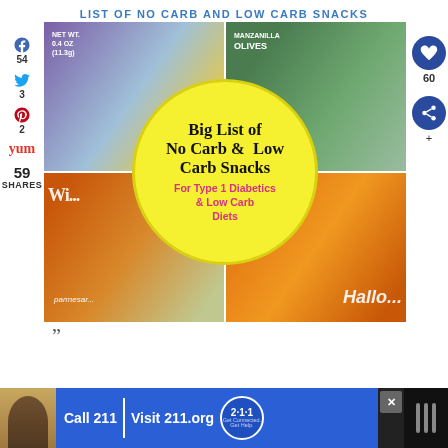LIST OF NO CARB AND LOW CARB SNACKS
[Figure (photo): Collage of four food package photos (purple snack bag, manzanilla olives, parmesan crisps, Halloween candy bag) with a yellow circle overlay reading 'Big List of No Carb & Low Carb Snacks For Type 1 Diabetics & Low Carb Diets'. Social share icons on left (Facebook 54, Twitter 3, Pinterest 2, Yummly). Share count 59 SHARES. Heart button with 60 count on right.]
”
[Figure (advertisement): Advertisement banner: person photo, 'Call 211 | Visit 211.org' with 2-1-1 badge logo, close button, and dark right section]